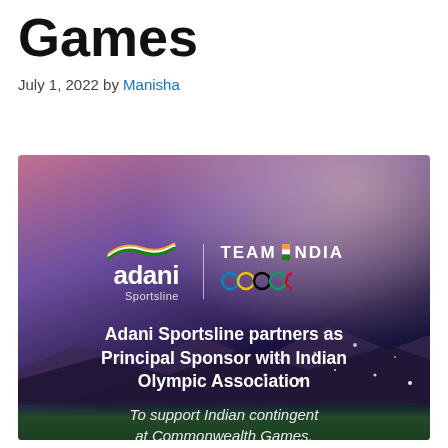Games
July 1, 2022 by Manisha
[Figure (illustration): Adani Sportsline partners as Principal Sponsor with Indian Olympic Association promotional image. Dark stadium background with purple and pink sky, green turf, Olympic rings, Indian flag wave graphic. Text reads: 'adani Sportsline | TEAM INDIA' with Olympic rings, 'Adani Sportsline partners as Principal Sponsor with Indian Olympic Association', 'To support Indian contingent at Commonwealth Games, Asian Games, and Olympics 2024']